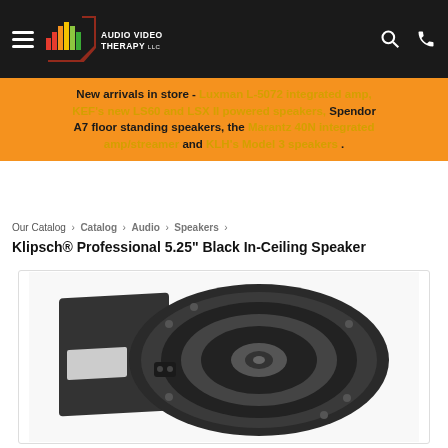Audio Video Therapy LLC — Navigation bar with hamburger menu, logo, search and phone icons
New arrivals in store - Luxman L-5072 integrated amp, KEF's new LS60 and LSX II powered speakers, Spendor A7 floor standing speakers, the Marantz 40N integrated amp/streamer and KLH's Model 3 speakers .
Our Catalog › Catalog › Audio › Speakers ›
Klipsch® Professional 5.25" Black In-Ceiling Speaker
[Figure (photo): Photo of a Klipsch Professional 5.25 inch black in-ceiling speaker, showing the circular driver unit with a dark cone and mounting hardware, viewed from a slight angle against a white background.]